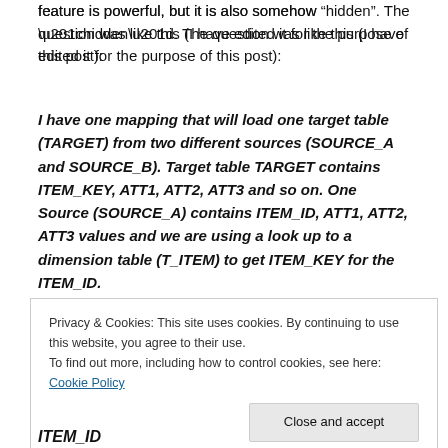feature is powerful, but it is also somehow “hidden”. The question was like this (I have edited it for the purpose of this post):
I have one mapping that will load one target table (TARGET) from two different sources (SOURCE_A and SOURCE_B). Target table TARGET contains ITEM_KEY, ATT1, ATT2, ATT3 and so on. One Source (SOURCE_A) contains ITEM_ID, ATT1, ATT2, ATT3 values and we are using a look up to a dimension table (T_ITEM) to get ITEM_KEY for the ITEM_ID.
Privacy & Cookies: This site uses cookies. By continuing to use this website, you agree to their use.
To find out more, including how to control cookies, see here: Cookie Policy
ITEM_ID